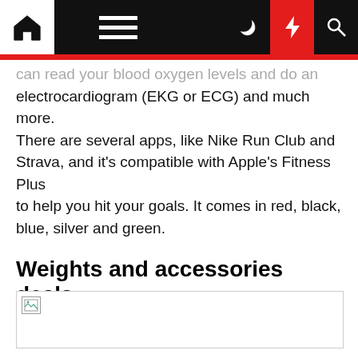Navigation bar with home, menu, dark mode, bolt/flash, and search icons
can read your blood oxygen levels and do an electrocardiogram (EKG or ECG) and much more. There are several apps, like Nike Run Club and Strava, and it's compatible with Apple's Fitness Plus to help you hit your goals. It comes in red, black, blue, silver and green.
Weights and accessories deals
[Figure (photo): Broken image placeholder at the bottom of the page]